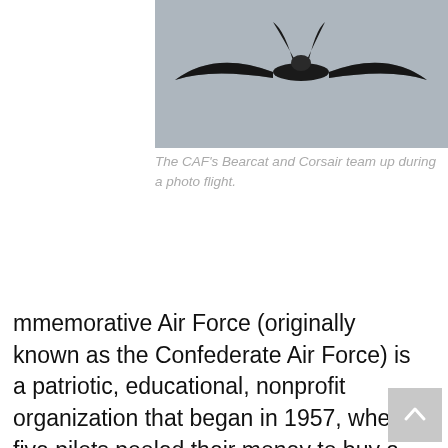[Figure (photo): A bird (appears to be a dark bird with spread wings) flying overhead, photographed from below against a light grey/concrete background. This is cropped from a photo of the CAF's Bearcat and Corsair aircraft during a photo flight.]
The CAF's Bearcat and Corsair team up during a photo flight.
mmorative Air Force (originally known as the Confederate Air Force) is a patriotic, educational, nonprofit organization that began in 1957, when five pilots pooled their money to buy a P-51 Mustang. After purchasing two more aircraft in 1958, the group began to search seriously for other World War II aircraft. In 1961, the CAF was chartered as a nonprofit Texas corporation, to preserve, restore and fly World War II era aircraft. What started out as a hobby for the group became an urgent mission to preserve